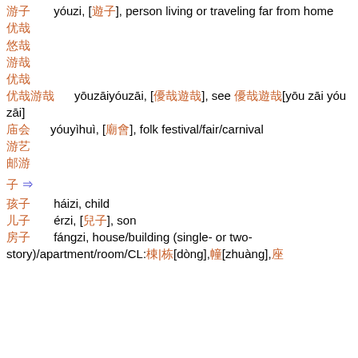游子  yóuzi, [遊子], person living or traveling far from home
优哉
悠哉
游哉
优哉
优哉游哉  yōuzāiyóuzāi, [優哉遊哉], see 優哉遊哉[yōu zāi yóu zāi]
庙会  yóuyìhuì, [廟會], folk festival/fair/carnival
游艺
邮游
⼦ ⇒
孩子  háizi, child
儿子  érzi, [兒子], son
房子  fángzi, house/building (single- or two-story)/apartment/room/CL:棟|栋[dòng],幢[zhuàng],座